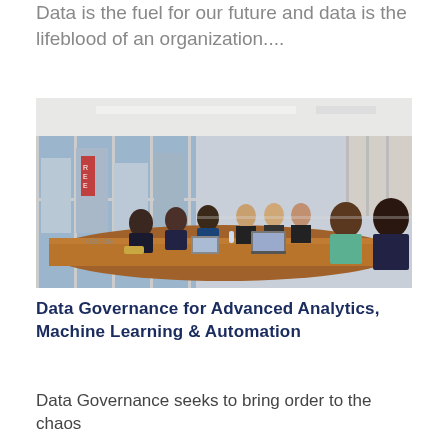Data is the fuel for our future and data is the lifeblood of an organization....
[Figure (photo): Group of people sitting around a large conference table with laptops in a modern office with floor-to-ceiling windows.]
Data Governance for Advanced Analytics, Machine Learning & Automation
Data Governance seeks to bring order to the chaos